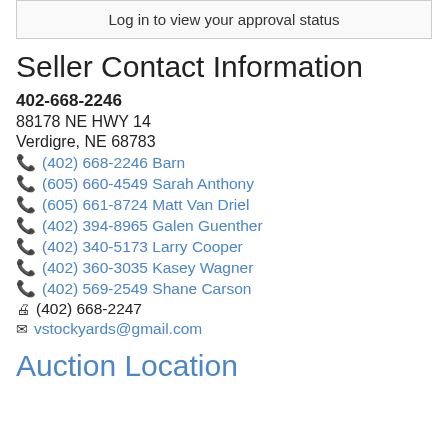Log in to view your approval status
Seller Contact Information
402-668-2246
88178 NE HWY 14
Verdigre, NE 68783
(402) 668-2246 Barn
(605) 660-4549 Sarah Anthony
(605) 661-8724 Matt Van Driel
(402) 394-8965 Galen Guenther
(402) 340-5173 Larry Cooper
(402) 360-3035 Kasey Wagner
(402) 569-2549 Shane Carson
(402) 668-2247
vstockyards@gmail.com
Auction Location